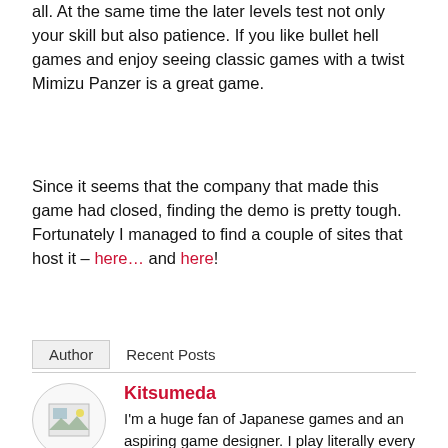all. At the same time the later levels test not only your skill but also patience. If you like bullet hell games and enjoy seeing classic games with a twist Mimizu Panzer is a great game.
Since it seems that the company that made this game had closed, finding the demo is pretty tough. Fortunately I managed to find a couple of sites that host it – here… and here!
Author | Recent Posts
Kitsumeda
I'm a huge fan of Japanese games and an aspiring game designer. I play literally every game genre. I also like retro games and